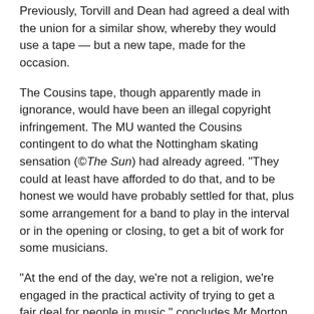Previously, Torvill and Dean had agreed a deal with the union for a similar show, whereby they would use a tape — but a new tape, made for the occasion.
The Cousins tape, though apparently made in ignorance, would have been an illegal copyright infringement. The MU wanted the Cousins contingent to do what the Nottingham skating sensation (©The Sun) had already agreed. "They could at least have afforded to do that, and to be honest we would have probably settled for that, plus some arrangement for a band to play in the interval or in the opening or closing, to get a bit of work for some musicians.
"At the end of the day, we're not a religion, we're engaged in the practical activity of trying to get a fair deal for people in music," concludes Mr Morton.
He's been engaged in that task since the mid-1940s, when he was "an ordinary working musician, making an honest living". But does he play now, I asked?